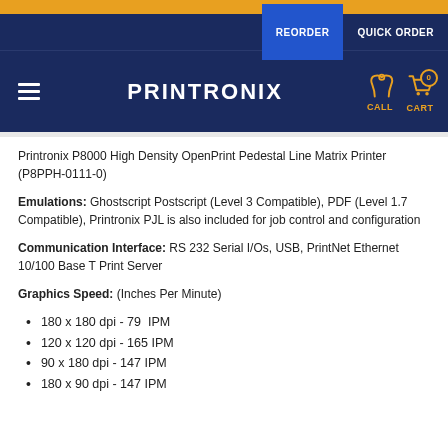REORDER  QUICK ORDER
[Figure (logo): Printronix logo with hamburger menu, call icon, and cart icon on dark blue background]
Printronix P8000 High Density OpenPrint Pedestal Line Matrix Printer (P8PPH-0111-0)
Emulations: Ghostscript Postscript (Level 3 Compatible), PDF (Level 1.7 Compatible), Printronix PJL is also included for job control and configuration
Communication Interface: RS 232 Serial I/Os, USB, PrintNet Ethernet 10/100 Base T Print Server
Graphics Speed: (Inches Per Minute)
180 x 180 dpi - 79  IPM
120 x 120 dpi - 165 IPM
90 x 180 dpi - 147 IPM
180 x 90 dpi - 147 IPM